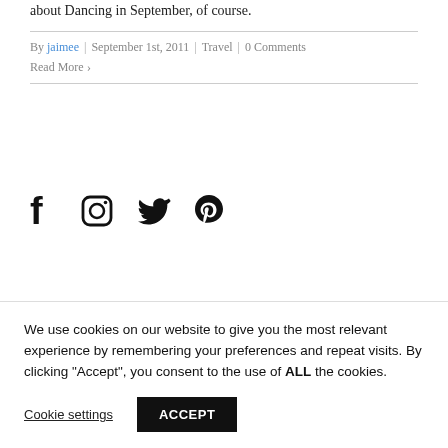about Dancing in September, of course.
By jaimee | September 1st, 2011 | Travel | 0 Comments
Read More >
[Figure (infographic): Social media icons: Facebook (f), Instagram (circle camera), Twitter (bird), Pinterest (P)]
We use cookies on our website to give you the most relevant experience by remembering your preferences and repeat visits. By clicking “Accept”, you consent to the use of ALL the cookies.
Cookie settings   ACCEPT